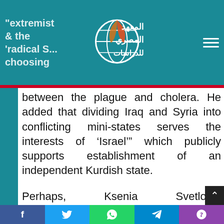"extremist... and the 'radical S... choosing
between the plague and cholera. He added that dividing Iraq and Syria into conflicting mini-states serves the interests of ‘Israel’” which publicly supports establishment of an independent Kurdish state.
Perhaps, Ksenia Svetlova, representative of the Zionist Camp Party at the Knesset, and chair of
f  t  WhatsApp  Telegram  phone